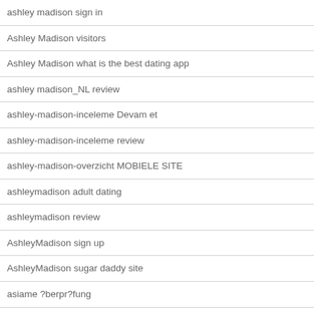ashley madison sign in
Ashley Madison visitors
Ashley Madison what is the best dating app
ashley madison_NL review
ashley-madison-inceleme Devam et
ashley-madison-inceleme review
ashley-madison-overzicht MOBIELE SITE
ashleymadison adult dating
ashleymadison review
AshleyMadison sign up
AshleyMadison sugar daddy site
asiame ?berpr?fung